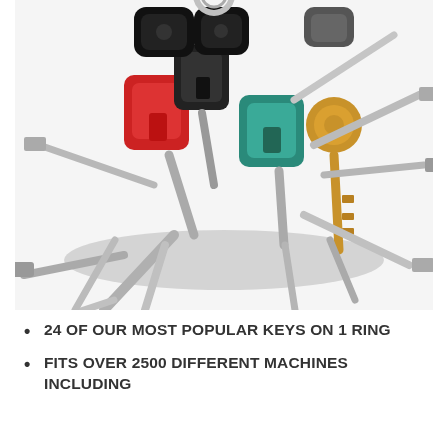[Figure (photo): Close-up photo of a large key ring with approximately 24 keys of various types and colors including red, teal/green, black, gold, and silver keys clustered together on a ring.]
24 OF OUR MOST POPULAR KEYS ON 1 RING
FITS OVER 2500 DIFFERENT MACHINES INCLUDING